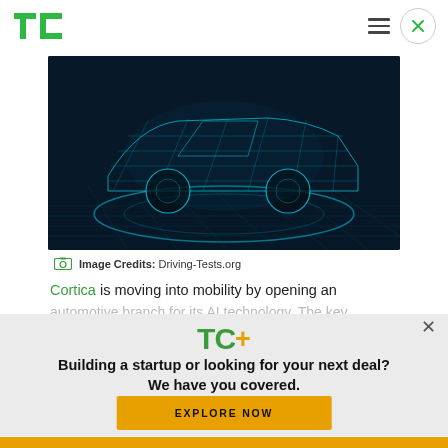TechCrunch logo and navigation
[Figure (photo): Dark teal wireframe rendering of a car with glowing neon blue/cyan lines against a dark background, showing a vehicle mesh model from the side]
Image Credits: Driving-Tests.org
Cortica is moving into mobility by opening an automotive branch for its AI technology. The key...
[Figure (logo): TechCrunch TC+ logo with green TC and yellow/orange plus sign, above a modal overlay with subscription prompt]
Building a startup or looking for your next deal? We have you covered.
EXPLORE NOW